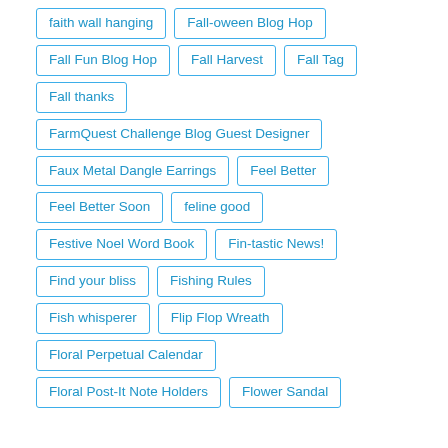faith wall hanging
Fall-oween Blog Hop
Fall Fun Blog Hop
Fall Harvest
Fall Tag
Fall thanks
FarmQuest Challenge Blog Guest Designer
Faux Metal Dangle Earrings
Feel Better
Feel Better Soon
feline good
Festive Noel Word Book
Fin-tastic News!
Find your bliss
Fishing Rules
Fish whisperer
Flip Flop Wreath
Floral Perpetual Calendar
Floral Post-It Note Holders
Flower Sandal